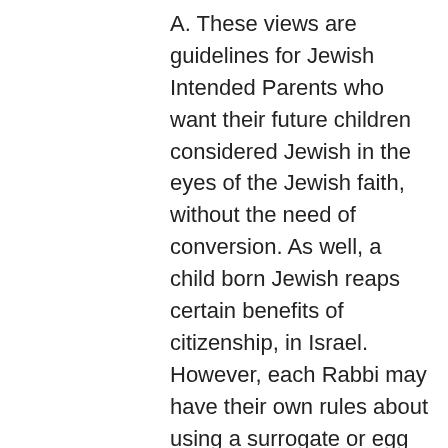A. These views are guidelines for Jewish Intended Parents who want their future children considered Jewish in the eyes of the Jewish faith, without the need of conversion. As well, a child born Jewish reaps certain benefits of citizenship, in Israel. However, each Rabbi may have their own rules about using a surrogate or egg donor, based on their own individual interpretations of Jewish law.